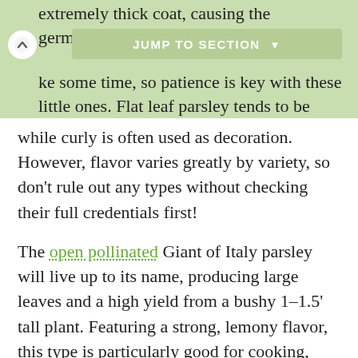extremely thick coat, causing the germination process to take some time, so patience is key with these little ones. Flat leaf parsley tends to be favored for its culinary uses
while curly is often used as decoration. However, flavor varies greatly by variety, so don't rule out any types without checking their full credentials first!
The open pollinated Giant of Italy parsley will live up to its name, producing large leaves and a high yield from a bushy 1–1.5' tall plant. Featuring a strong, lemony flavor, this type is particularly good for cooking, using in sauces, and drying. Plants are also praised for their hardiness, surviving winter temperatures down to freezing and sprouting back for its second year from the deep taproot. It does well in containers and indoors, so Giant of Italy can be planted year round for a continuous harvest.